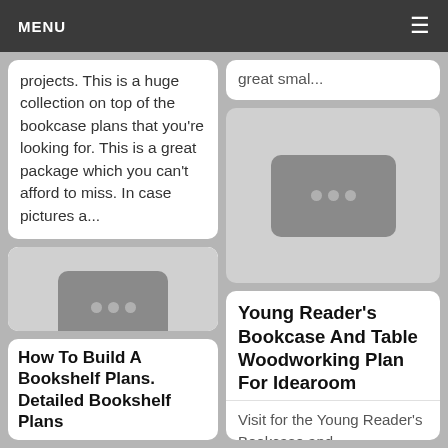MENU
projects. This is a huge collection on top of the bookcase plans that you're looking for. This is a great package which you can't afford to miss. In case pictures a...
great smal...
[Figure (illustration): Placeholder image with dark rounded rectangle and three dots, left column lower card]
[Figure (illustration): Placeholder image with dark rounded rectangle and three dots, right column middle card]
How To Build A Bookshelf Plans. Detailed Bookshelf Plans
Young Reader's Bookcase And Table Woodworking Plan For Idearoom
Visit for the Young Reader's Bookcase and